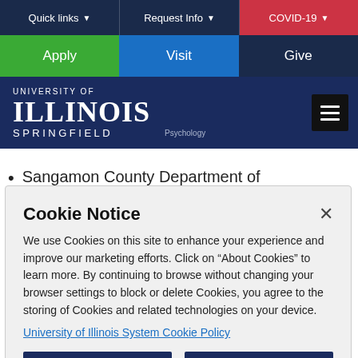Quick links | Request Info | COVID-19
Apply | Visit | Give
[Figure (logo): University of Illinois Springfield logo with Psychology label and hamburger menu]
Sangamon County Department of
Cookie Notice
We use Cookies on this site to enhance your experience and improve our marketing efforts. Click on “About Cookies” to learn more. By continuing to browse without changing your browser settings to block or delete Cookies, you agree to the storing of Cookies and related technologies on your device.
University of Illinois System Cookie Policy
About Cookies | Close this Notice